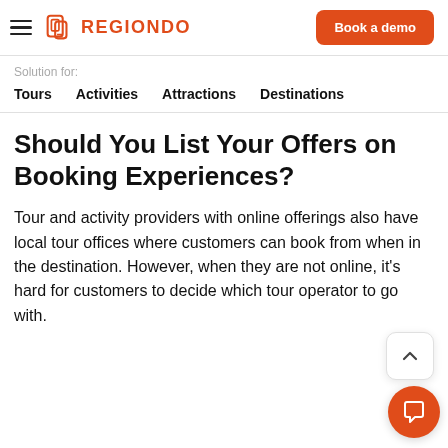REGIONDO — Book a demo
Solution for:
Tours
Activities
Attractions
Destinations
Should You List Your Offers on Booking Experiences?
Tour and activity providers with online offerings also have local tour offices where customers can book from when in the destination. However, when they are not online, it's hard for customers to decide which tour operator to go with.